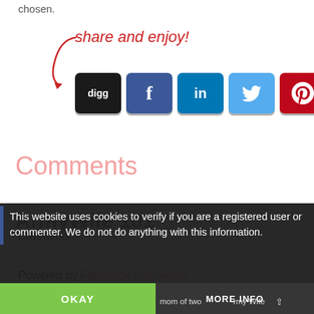chosen.
[Figure (infographic): Share and enjoy callout with a red cursive 'share and enjoy!' label with a red curved arrow pointing to social media sharing buttons: Digg, Facebook, LinkedIn, Twitter, Pinterest, and a green share button.]
Comments
comments
Powered by Facebook Comments
This website uses cookies to verify if you are a registered user or commenter. We do not do anything with this information.